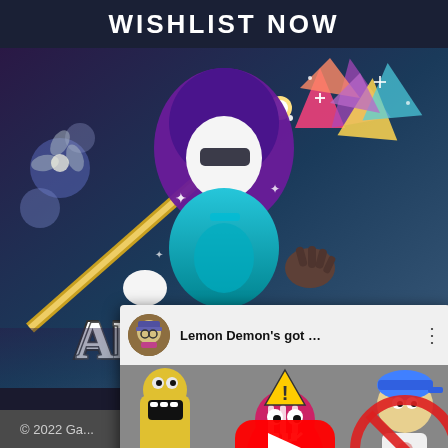WISHLIST NOW
[Figure (illustration): Anuchard game promotional art showing a hooded character with staff holding weapon, colorful crystal background, with game logo 'ANUCHARD' in white graffiti-style lettering at the bottom]
[Figure (screenshot): YouTube video thumbnail overlay showing 'Lemon Demon's got ...' with a user avatar, YouTube play button, and cartoon characters from Friday Night Funkin style game]
© 2022 Ga...